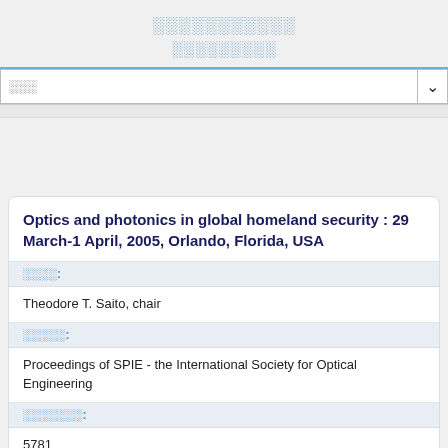░░░░░░░░░░░ ░░░░░░░░░
░░░
Optics and photonics in global homeland security : 29 March-1 April, 2005, Orlando, Florida, USA
░░░░:
Theodore T. Saito, chair
░░░░░:
Proceedings of SPIE - the International Society for Optical Engineering
░░░░░░░:
5781
░░░: